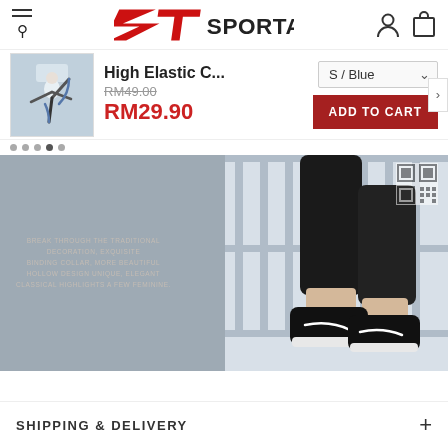Sportantz
[Figure (screenshot): Product thumbnail showing a woman doing a ballet stretch in athletic wear]
High Elastic C...
RM49.00 (strikethrough) RM29.90
S / Blue dropdown, ADD TO CART button
[Figure (photo): Close-up photo of a person wearing black capri leggings and black Nike sneakers, standing in a corridor with vertical railings]
BREAK THROUGH THE TRADITIONAL DECORATION, EXQUISITE BINDING COLLAR, MORE BEAUTIFUL HOLLOW DESIGN UNIQUE, ELEGANT CLASSICAL HIGHLIGHTS A FEW FEMININE.
SHIPPING & DELIVERY